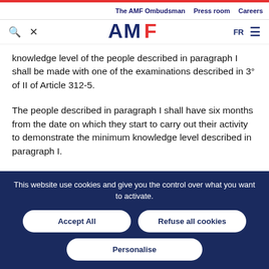The AMF Ombudsman | Press room | Careers
knowledge level of the people described in paragraph I shall be made with one of the examinations described in 3° of II of Article 312-5.
The people described in paragraph I shall have six months from the date on which they start to carry out their activity to demonstrate the minimum knowledge level described in paragraph I.
This website use cookies and give you the control over what you want to activate.
Accept All
Refuse all cookies
Personalise